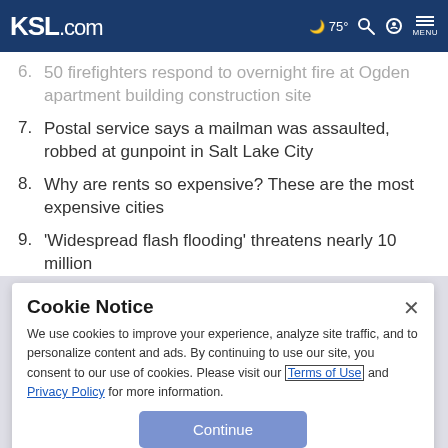KSL.com | 75° | Search | Account | Menu
6. 50 firefighters respond to overnight fire at Ogden apartment building construction site
7. Postal service says a mailman was assaulted, robbed at gunpoint in Salt Lake City
8. Why are rents so expensive? These are the most expensive cities
9. 'Widespread flash flooding' threatens nearly 10 million
Cookie Notice
We use cookies to improve your experience, analyze site traffic, and to personalize content and ads. By continuing to use our site, you consent to our use of cookies. Please visit our Terms of Use and Privacy Policy for more information.
Continue